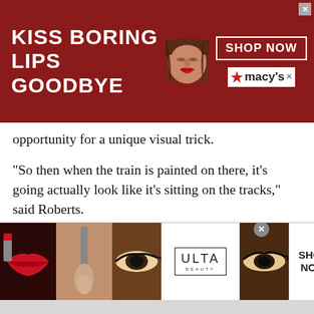[Figure (screenshot): Macy's advertisement banner: dark red background, woman's face with red lips center, text 'KISS BORING LIPS GOODBYE' on left, 'SHOP NOW' button and Macy's star logo on right]
opportunity for a unique visual trick.
“So then when the train is painted on there, it’s going actually look like it’s sitting on the tracks,” said Roberts.
There is still no final bid on the price for the Blue Goose project, but fundraising for the mural has already begun.
Like the fundraiser for the Buster Keaton mural,
[Figure (screenshot): Ulta Beauty advertisement banner at bottom: makeup imagery (red lips, brush, eye), Ulta logo, eye makeup photos, SHOP NOW button on right]